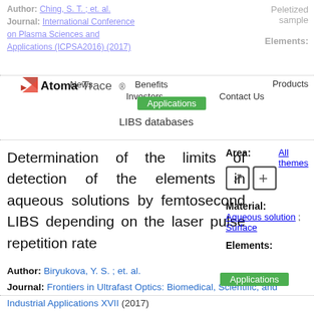Author: Ching, S. T. ; et. al.
Journal: International Conference on Plasma Sciences and Applications (ICPSA2016) (2017)
Peletized sample
Elements:
[Figure (logo): AtomaTrace logo with red checkmark icon]
Applications
LIBS databases
Determination of the limits of detection of the elements in aqueous solutions by femtosecond LIBS depending on the laser pulse repetition rate
Area:
All themes
Material:
Aqueous solution ; Surface
Elements:
Author: Biryukova, Y. S. ; et. al.
Journal: Frontiers in Ultrafast Optics: Biomedical, Scientific, and Industrial Applications XVII (2017)
Applications